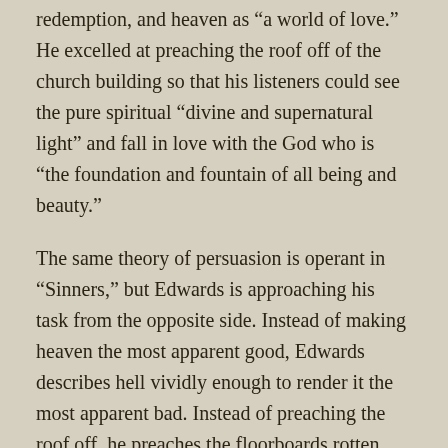redemption, and heaven as “a world of love.” He excelled at preaching the roof off of the church building so that his listeners could see the pure spiritual “divine and supernatural light” and fall in love with the God who is “the foundation and fountain of all being and beauty.”
The same theory of persuasion is operant in “Sinners,” but Edwards is approaching his task from the opposite side. Instead of making heaven the most apparent good, Edwards describes hell vividly enough to render it the most apparent bad. Instead of preaching the roof off, he preaches the floorboards rotten. Sin drags us down all the time, but we are easily insensible of it; it is the greatest evil, but not the most apparent evil. By the time Edwards is done describing sin and its effects, its loathsomeness is